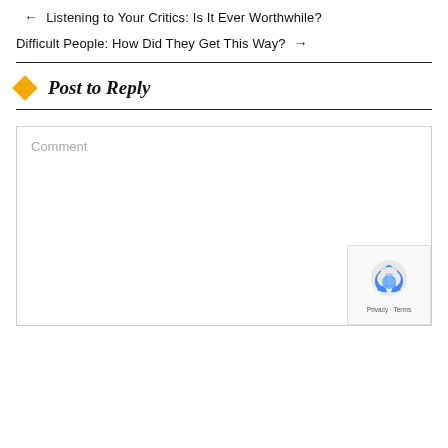← Listening to Your Critics: Is It Ever Worthwhile?
Difficult People: How Did They Get This Way? →
Post to Reply
Comment